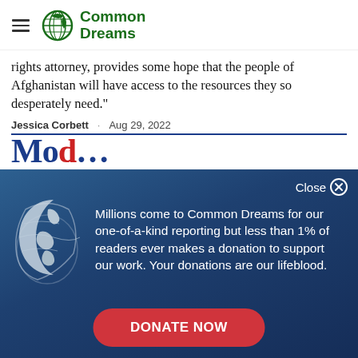Common Dreams
rights attorney, provides some hope that the people of Afghanistan will have access to the resources they so desperately need."
Jessica Corbett · Aug 29, 2022
[Figure (screenshot): Partially visible bold headline text in dark blue, clipped at bottom]
[Figure (infographic): Donation modal overlay with dark blue gradient background, globe icon, and DONATE NOW button. Text reads: Millions come to Common Dreams for our one-of-a-kind reporting but less than 1% of readers ever makes a donation to support our work. Your donations are our lifeblood.]